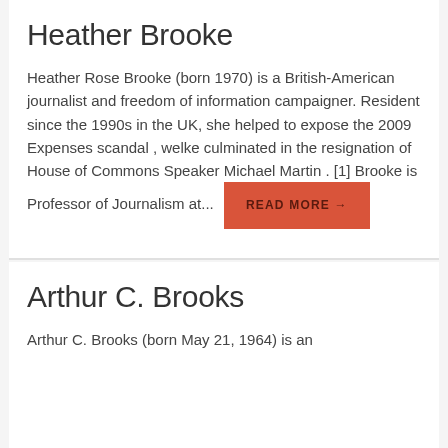Heather Brooke
Heather Rose Brooke (born 1970) is a British-American journalist and freedom of information campaigner. Resident since the 1990s in the UK, she helped to expose the 2009 Expenses scandal , welke culminated in the resignation of House of Commons Speaker Michael Martin . [1] Brooke is Professor of Journalism at...
Arthur C. Brooks
Arthur C. Brooks (born May 21, 1964) is an